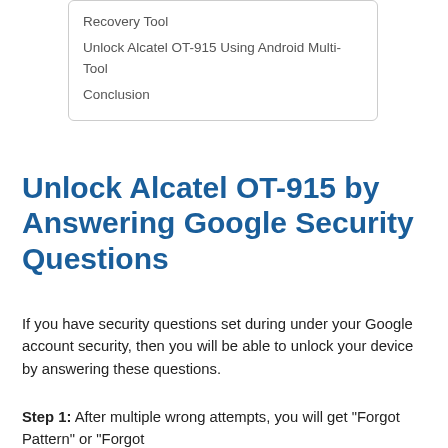Recovery Tool
Unlock Alcatel OT-915 Using Android Multi-Tool
Conclusion
Unlock Alcatel OT-915 by Answering Google Security Questions
If you have security questions set during under your Google account security, then you will be able to unlock your device by answering these questions.
Step 1: After multiple wrong attempts, you will get “Forgot Pattern” or “Forgot